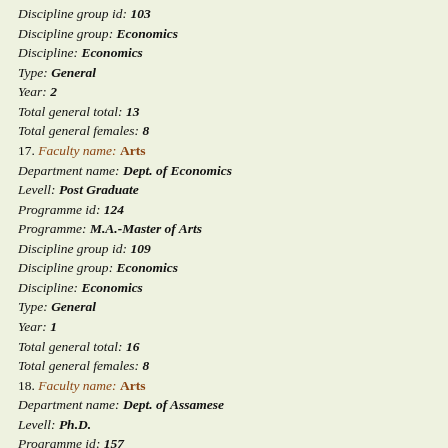Discipline group id: 103
Discipline group: Economics
Discipline: Economics
Type: General
Year: 2
Total general total: 13
Total general females: 8
17. Faculty name: Arts
Department name: Dept. of Economics
Levell: Post Graduate
Programme id: 124
Programme: M.A.-Master of Arts
Discipline group id: 109
Discipline group: Economics
Discipline: Economics
Type: General
Year: 1
Total general total: 16
Total general females: 8
18. Faculty name: Arts
Department name: Dept. of Assamese
Levell: Ph.D.
Programme id: 157
Programme: Ph.D.-Doctor of Philosophy
Discipline group id: 50
Discipline group: Other Indian Languages